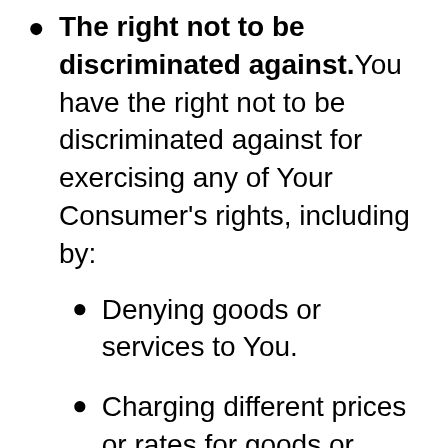The right not to be discriminated against. You have the right not to be discriminated against for exercising any of Your Consumer's rights, including by:
Denying goods or services to You.
Charging different prices or rates for goods or services, including the use of discounts or other benefits or imposing penalties.